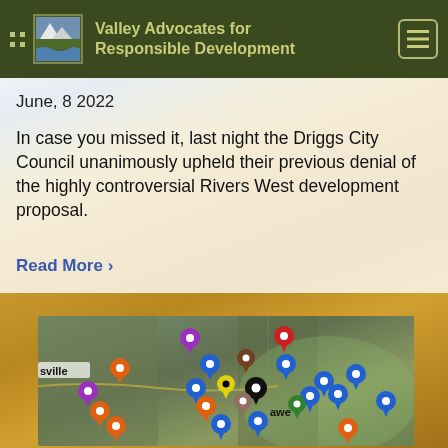Valley Advocates for Responsible Development
June, 8 2022
In case you missed it, last night the Driggs City Council unanimously upheld their previous denial of the highly controversial Rivers West development proposal.
Read More ›
[Figure (map): Interactive map showing multiple colored location pins (blue, orange, purple, red, yellow, black, green, brown) on a satellite/aerial view of the Driggs area, with the label 'sville' visible on the left and 'awe' visible in the lower center.]